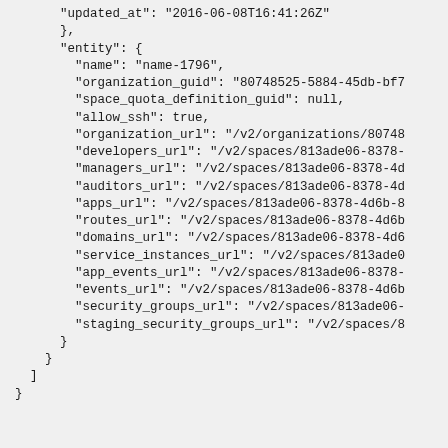"updated_at": "2016-06-08T16:41:26Z"
},
"entity": {
  "name": "name-1796",
  "organization_guid": "80748525-5884-45db-bf7
  "space_quota_definition_guid": null,
  "allow_ssh": true,
  "organization_url": "/v2/organizations/80748
  "developers_url": "/v2/spaces/813ade06-8378-
  "managers_url": "/v2/spaces/813ade06-8378-4d
  "auditors_url": "/v2/spaces/813ade06-8378-4d
  "apps_url": "/v2/spaces/813ade06-8378-4d6b-8
  "routes_url": "/v2/spaces/813ade06-8378-4d6b
  "domains_url": "/v2/spaces/813ade06-8378-4d6
  "service_instances_url": "/v2/spaces/813ade0
  "app_events_url": "/v2/spaces/813ade06-8378-
  "events_url": "/v2/spaces/813ade06-8378-4d6b
  "security_groups_url": "/v2/spaces/813ade06-
  "staging_security_groups_url": "/v2/spaces/8
}
  }
    ]
  }